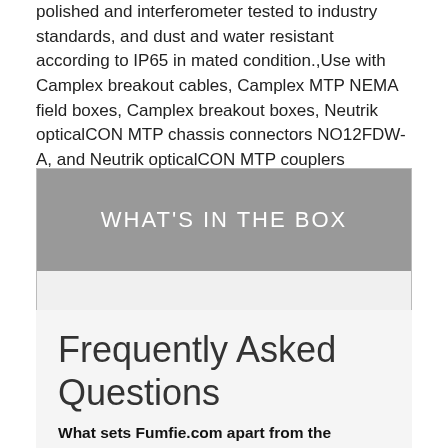polished and interferometer tested to industry standards, and dust and water resistant according to IP65 in mated condition.,Use with Camplex breakout cables, Camplex MTP NEMA field boxes, Camplex breakout boxes, Neutrik opticalCON MTP chassis connectors NO12FDW-A, and Neutrik opticalCON MTP couplers NAO12SAW-A for durability and high performance."
WHAT'S IN THE BOX
[Figure (other): Empty light gray content area below the 'What's in the Box' header]
Frequently Asked Questions
What sets Fumfie.com apart from the